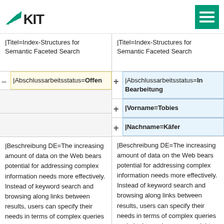KIT logo and navigation menu
|Titel=Index-Structures for Semantic Faceted Search
|Titel=Index-Structures for Semantic Faceted Search
– |Abschlussarbeitsstatus=Offen
+ |Abschlussarbeitsstatus=In Bearbeitung
+ |Vorname=Tobies
+ |Nachname=Käfer
|Beschreibung DE=The increasing amount of data on the Web bears potential for addressing complex information needs more effectively. Instead of keyword search and browsing along links between results, users can specify their needs in terms of complex queries and obtain precise answers right away. Particularly in cases where the information
|Beschreibung DE=The increasing amount of data on the Web bears potential for addressing complex information needs more effectively. Instead of keyword search and browsing along links between results, users can specify their needs in terms of complex queries and obtain precise answers right away. Particularly in cases where the information